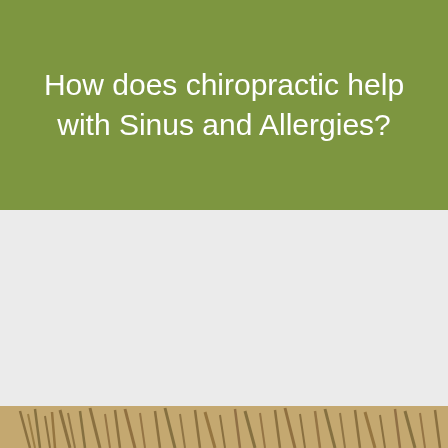How does chiropractic help with Sinus and Allergies?
[Figure (photo): Light gray content area followed by a photo of dried grass or wheat stalks at the bottom of the page]